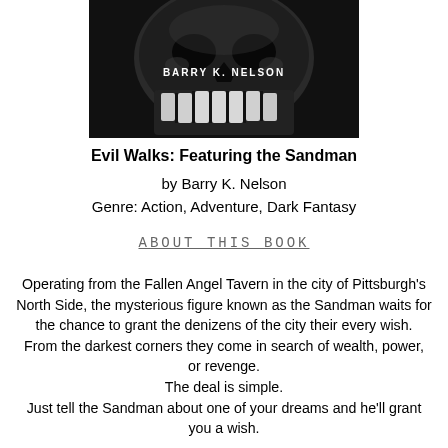[Figure (photo): Book cover image showing a dark skull with teeth visible, author name 'BARRY K. NELSON' displayed in white bold text over the skull image]
Evil Walks: Featuring the Sandman
by Barry K. Nelson
Genre: Action, Adventure, Dark Fantasy
ABOUT THIS BOOK
Operating from the Fallen Angel Tavern in the city of Pittsburgh's North Side, the mysterious figure known as the Sandman waits for the chance to grant the denizens of the city their every wish.
From the darkest corners they come in search of wealth, power, or revenge.
The deal is simple.
Just tell the Sandman about one of your dreams and he'll grant you a wish.